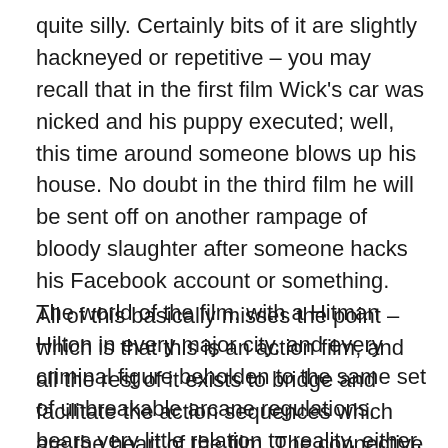quite silly. Certainly bits of it are slightly hackneyed or repetitive – you may recall that in the first film Wick's car was nicked and his puppy executed; well, this time around someone blows up his house. No doubt in the third film he will be sent off on another rampage of bloody slaughter after someone hacks his Facebook account or something. The world of the film, with a Hitman Hilton in every major city, and every criminal figure beholden to the same set of unbreakable arcane regulations, bears very little relation to reality, either.
All of this basically misses the point – which is that this is an action film, and all the rest of it exists to bridge and facilitate the action sequences which are the heart of the film. The connective material is arch and knowing enough to be fun – Peter Serafinowicz turns up as the world's